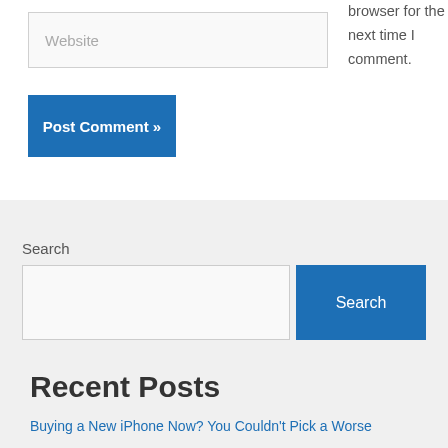Website
browser for the next time I comment.
Post Comment »
Search
Search
Recent Posts
Buying a New iPhone Now? You Couldn't Pick a Worse